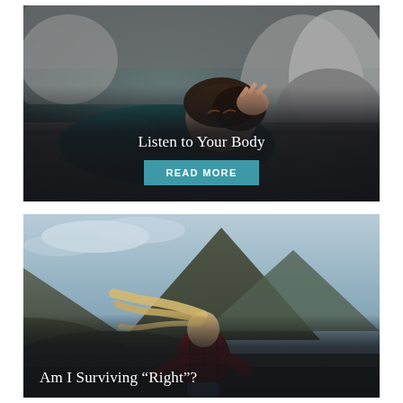[Figure (photo): Woman lying on a couch looking distressed, resting her head on her hand, wearing a dark teal sweater, grey couch with pillows in background. Overlay text: 'Listen to Your Body' with a teal 'READ MORE' button.]
[Figure (photo): Woman with long blonde hair wearing a red plaid shirt standing outdoors facing away, looking at a dramatic mountain landscape under cloudy sky. Overlay text: 'Am I Surviving "Right"?']